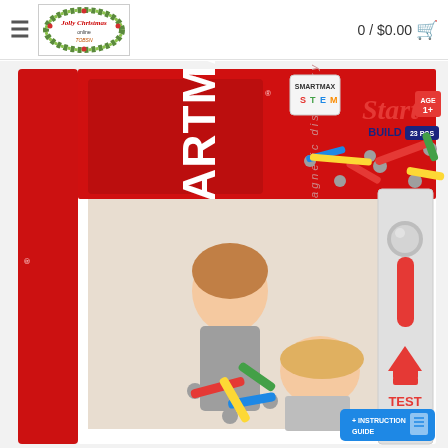0 / $0.00 🛒
[Figure (photo): SmartMax Start Build magnetic discovery toy set box. Red box with SMARTMAX branding and children playing with colorful magnetic sticks and silver ball connectors. Shows 'Start Build 23 pcs' text, age 1+, STEM logo, TEST button, and Instruction Guide label.]